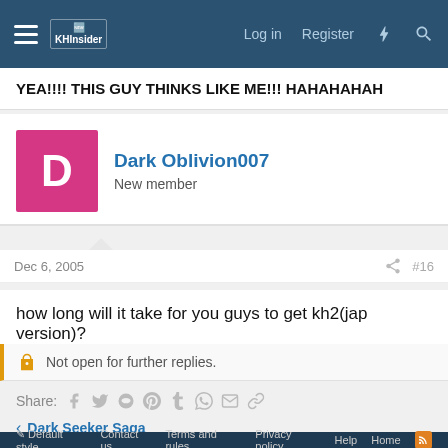KHInsider forum navigation bar with Log in, Register links
YEA!!!! THIS GUY THINKS LIKE ME!!! HAHAHAHAH
Dark Oblivion007
New member
Dec 6, 2005  #16
how long will it take for you guys to get kh2(jap version)?
Not open for further replies.
Share:
Dark Seeker Saga
Default style
Contact us  Terms and rules  Privacy policy  Help  Home